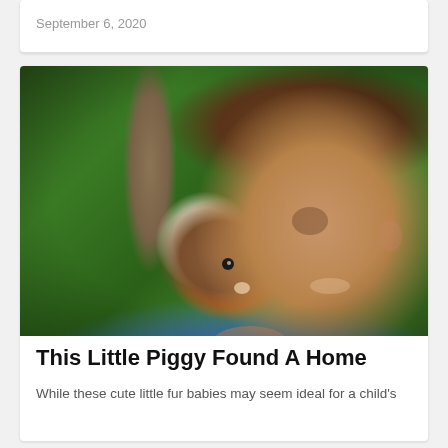September 6, 2020
[Figure (photo): A smiling boy with curly brown hair holding a brown, white, and orange guinea pig pressed against his cheek, outdoors with green foliage in background.]
This Little Piggy Found A Home
While these cute little fur babies may seem ideal for a child's